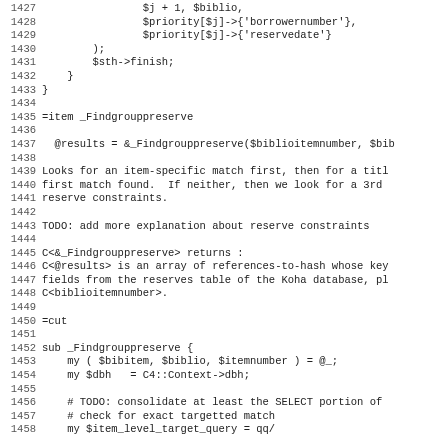Code listing lines 1427-1458 showing Perl source code for _Findgrouppreserve subroutine and documentation comments.